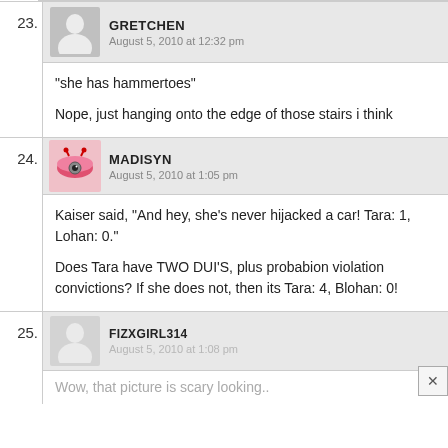23. GRETCHEN — August 5, 2010 at 12:32 pm — “she has hammertoes”

Nope, just hanging onto the edge of those stairs i think
24. MADISYN — August 5, 2010 at 1:05 pm — Kaiser said, “And hey, she’s never hijacked a car! Tara: 1, Lohan: 0.”

Does Tara have TWO DUI'S, plus probabion violation convictions? If she does not, then its Tara: 4, Blohan: 0!
25. FIZXGIRL314 — August 5, 2010 at 1:08 pm — Wow, that picture is scary looking..